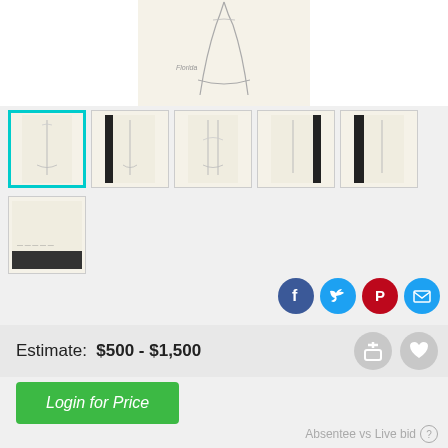[Figure (illustration): Main large sketch showing a partial fashion illustration of a figure in a long dress/skirt, pencil drawing on cream paper]
[Figure (photo): Thumbnail 1 (selected, cyan border): pencil sketch of tall thin figure]
[Figure (photo): Thumbnail 2: pencil sketch with dark left border]
[Figure (photo): Thumbnail 3: pencil sketch of two figures]
[Figure (photo): Thumbnail 4: pencil sketch with thick dark right border]
[Figure (photo): Thumbnail 5: pencil sketch with thick dark left border]
[Figure (photo): Thumbnail row 2, item 1: cream paper with some dark marks at bottom]
[Figure (illustration): Social share icons: Facebook (blue), Twitter (blue), Pinterest (red), Email (blue)]
Estimate:  $500 - $1,500
Login for Price
Absentee vs Live bid ?